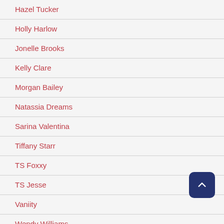Hazel Tucker
Holly Harlow
Jonelle Brooks
Kelly Clare
Morgan Bailey
Natassia Dreams
Sarina Valentina
Tiffany Starr
TS Foxxy
TS Jesse
Vaniity
Wendy Williams